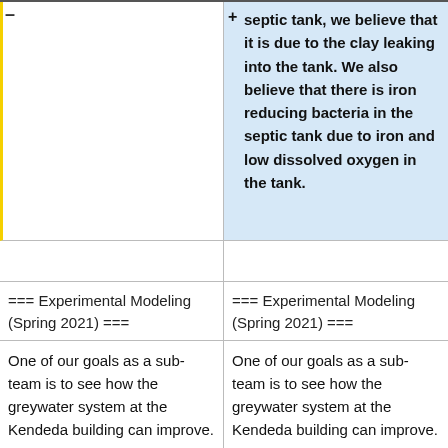septic tank, we believe that it is due to the clay leaking into the tank. We also believe that there is iron reducing bacteria in the septic tank due to iron and low dissolved oxygen in the tank.
=== Experimental Modeling (Spring 2021) ===
=== Experimental Modeling (Spring 2021) ===
One of our goals as a sub-team is to see how the greywater system at the Kendeda building can improve. One of the components of the greywater treatment system that our team has found to be an
One of our goals as a sub-team is to see how the greywater system at the Kendeda building can improve. One of the components of the greywater treatment system that our team has found to be an